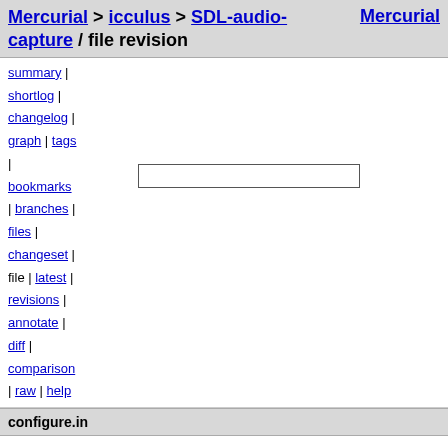Mercurial > icculus > SDL-audio-capture / file revision   Mercurial
summary |
shortlog |
changelog |
graph | tags
|
bookmarks
| branches |
files |
changeset |
file | latest |
revisions |
annotate |
diff |
comparison
| raw | help
configure.in
| field | value |
| --- | --- |
| author | Philipp Wiesemann <philipp.wiesemann@arcor.de> |
|  | Sun, 02 Jun 2013 14:11:04 +0200 (2013-06-02) |
| changeset 7261 | df37802bf7db |
| parent 7235 | 80fefd4af771 |
| child 7266 | 6caad66a4966 |
| permissions | -rw-r--r-- |